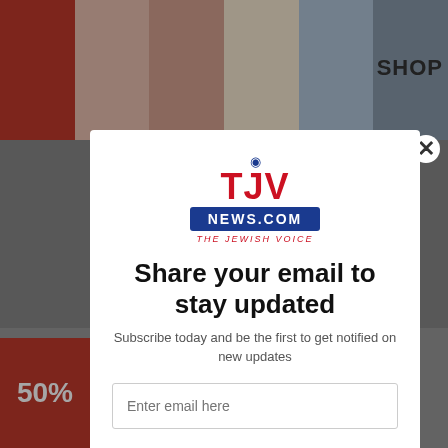[Figure (screenshot): Background showing a blurred webpage with advertisement tiles at the top and a red sale box at bottom left, and SHOP text at top right]
[Figure (logo): TJV News.com - The Jewish Voice logo, with eye icon, red TJV text, blue NEWS.COM banner, and red italic tagline THE JEWISH VOICE]
Share your email to stay updated
Subscribe today and be the first to get notified on new updates
Enter email here
Subscribe